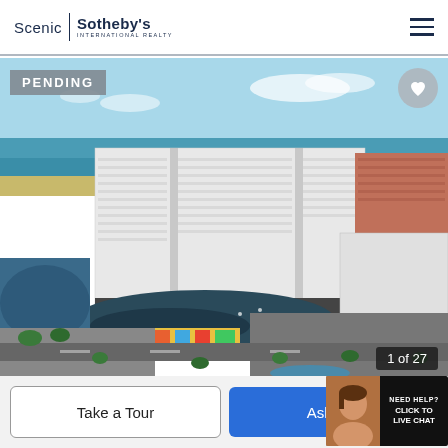[Figure (logo): Scenic Sotheby's International Realty logo with hamburger menu icon]
[Figure (photo): Aerial photograph of a large beachfront resort/condominium complex with ocean view, marina, parking areas, and surrounding commercial buildings. PENDING badge in top-left, heart icon in top-right, '1 of 27' counter in bottom-right.]
PENDING
1 of 27
Take a Tour
Ask A Q
NEED HELP? CLICK TO LIVE CHAT